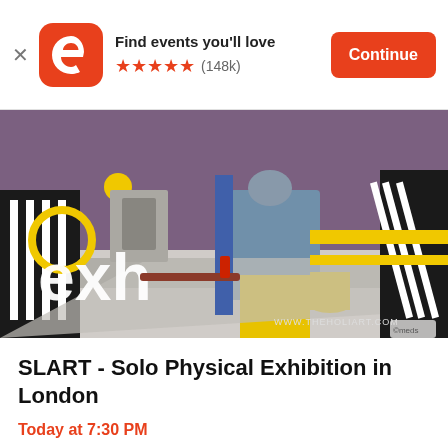Find events you'll love ★★★★★ (148k) Continue
[Figure (photo): Exhibition artwork image showing a painted scene with text overlay reading 'exhibition' split as 'exh ibit ion' in white letters on left side. Background shows a painted figure in yellow pants, purple wall, medical/industrial equipment. Watermark: WWW.THEHOLIART.COM]
SLART - Solo Physical Exhibition in London
Today at 7:30 PM
The Factory • London
Free